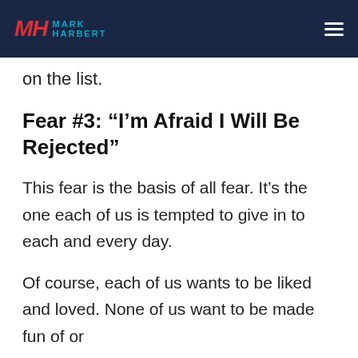MARK HARBERT
on the list.
Fear #3: “I’m Afraid I Will Be Rejected”
This fear is the basis of all fear. It’s the one each of us is tempted to give in to each and every day.
Of course, each of us wants to be liked and loved. None of us want to be made fun of or